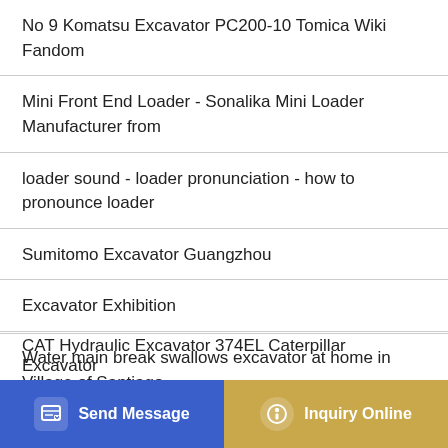No 9 Komatsu Excavator PC200-10 Tomica Wiki Fandom
Mini Front End Loader - Sonalika Mini Loader Manufacturer from
loader sound - loader pronunciation - how to pronounce loader
Sumitomo Excavator Guangzhou
Excavator Exhibition
Water main break swallows excavator at home in Village of Santiago
… is the current of the loader
CAT Hydraulic Excavator 374EL Caterpillar Excavator